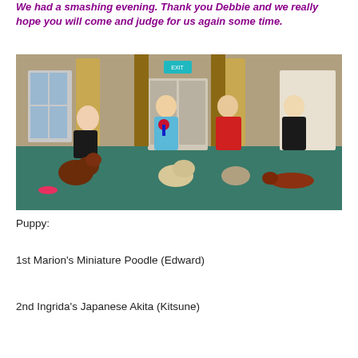We had a smashing evening. Thank you Debbie and we really hope you will come and judge for us again some time.
[Figure (photo): Four people standing in a community hall with green flooring, each with a dog. From left: a person kneeling with a brown miniature poodle, a person in a blue jacket holding a rosette with a light-coloured fluffy dog, a person in a red jacket standing with a dog on a lead, and a person in black with a dachshund.]
Puppy:
1st Marion's Miniature Poodle (Edward)
2nd Ingrida's Japanese Akita (Kitsune)